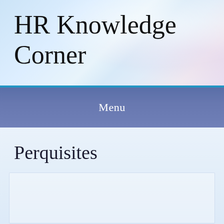HR Knowledge Corner
Menu
Perquisites